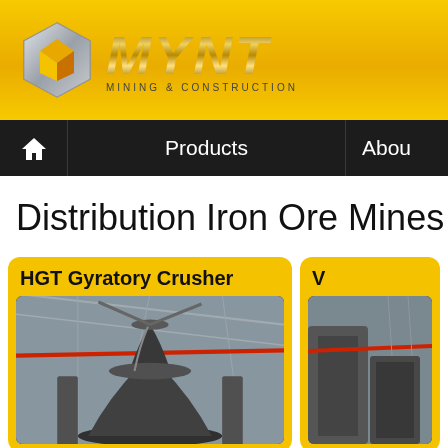[Figure (logo): MYNT Mining & Construction company logo with geometric diamond/cube icon and stylized MYNT text in gold metallic lettering]
Products | About
Distribution Iron Ore Mines In J
HGT Gyratory Crusher
[Figure (photo): HGT Gyratory Crusher industrial machinery in a factory/plant setting]
V
[Figure (photo): Second product - partial view of industrial equipment]